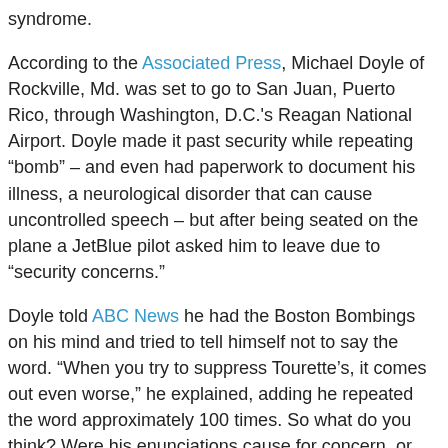syndrome.
According to the Associated Press, Michael Doyle of Rockville, Md. was set to go to San Juan, Puerto Rico, through Washington, D.C.'s Reagan National Airport. Doyle made it past security while repeating “bomb” – and even had paperwork to document his illness, a neurological disorder that can cause uncontrolled speech – but after being seated on the plane a JetBlue pilot asked him to leave due to “security concerns.”
Doyle told ABC News he had the Boston Bombings on his mind and tried to tell himself not to say the word. “When you try to suppress Tourette’s, it comes out even worse,” he explained, adding he repeated the word approximately 100 times. So what do you think? Were his enunciations cause for concern, or can we as air travelers never be too careful? Doyle, by the way, was offered a free round-trip ticket on another JetBlue flight, but there is no guarantee he will be